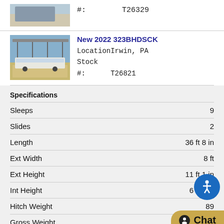[Figure (photo): Partial view of a travel trailer RV parked outside]
#:    T26329
[Figure (photo): Travel trailer RV parked under a carport structure]
New 2022 323BHDSCK
LocationIrwin, PA
Stock
#:      T26821
Specifications
| Specification | Value |
| --- | --- |
| Sleeps | 9 |
| Slides | 2 |
| Length | 36 ft 8 in |
| Ext Width | 8 ft |
| Ext Height | 11 ft 1 in |
| Int Height | 6 ft 9 in |
| Hitch Weight | 89… |
| Gross Weight | 95… |